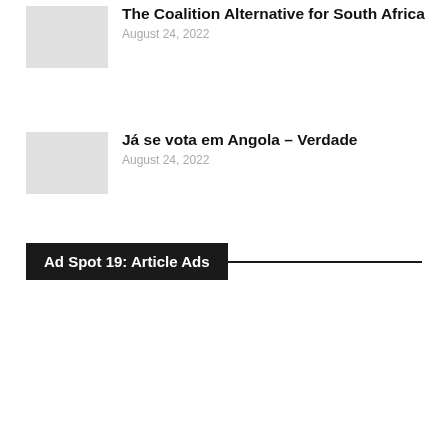The Coalition Alternative for South Africa
August 24, 2022
Já se vota em Angola – Verdade
August 24, 2022
Ad Spot 19: Article Ads